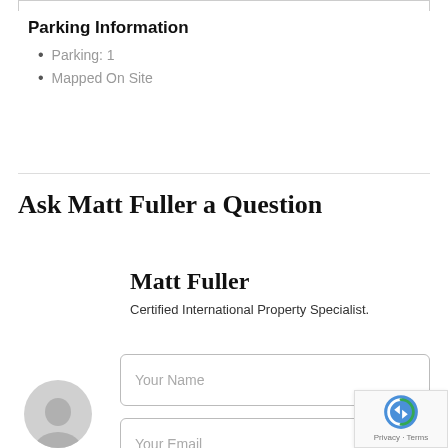Parking Information
Parking: 1
Mapped On Site
Ask Matt Fuller a Question
Matt Fuller
Certified International Property Specialist.
Your Name
Your Email